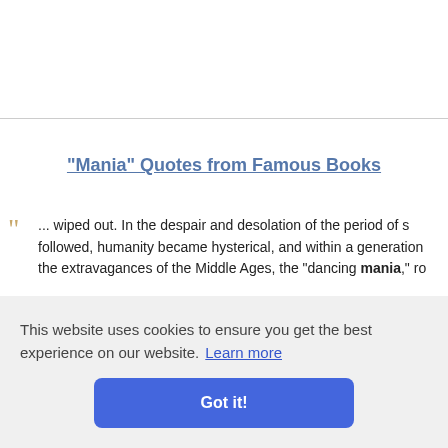"Mania" Quotes from Famous Books
... wiped out. In the despair and desolation of the period of s followed, humanity became hysterical, and within a generation the extravagances of the Middle Ages, the "dancing mania," ro cially in Ge e bystande
07 • Vario
broke out, and a little time before the siege of Delhi, a re
This website uses cookies to ensure you get the best experience on our website. Learn more Got it!